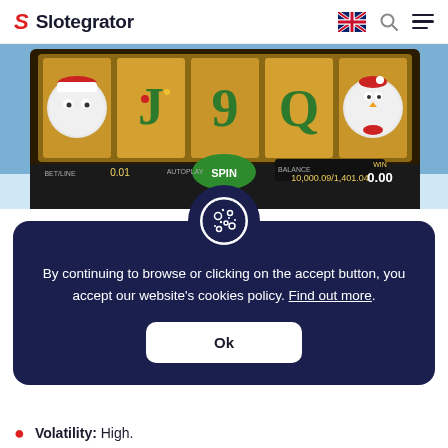Slotegrator
[Figure (screenshot): Christmas-themed slot machine game screenshot showing reels with festive symbols including a sheep in Santa hat, decorative letters J, 9, Q, and a bird character with Santa hat. Shows game UI with SPIN button, balance display showing 10,000.09/1,401.04, bet of 0.01, total bet 0.05, and WIN display showing 0.00.]
[Figure (illustration): Cookie consent popup overlay with dark navy background, cookie icon at top, text explaining cookie policy, and an Ok button.]
By continuing to browse or clicking on the accept button, you accept our website's cookies policy. Find out more.
Volatility: High.